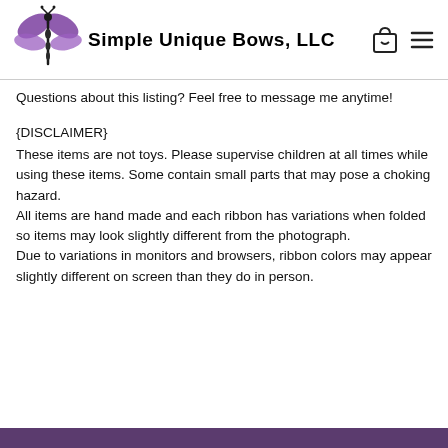Simple Unique Bows, LLC
Questions about this listing? Feel free to message me anytime!
{DISCLAIMER}
These items are not toys. Please supervise children at all times while using these items. Some contain small parts that may pose a choking hazard.
All items are hand made and each ribbon has variations when folded so items may look slightly different from the photograph.
Due to variations in monitors and browsers, ribbon colors may appear slightly different on screen than they do in person.